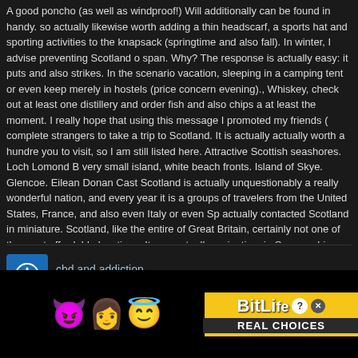A good poncho (as well as windproof!) Will additionally can be found in handy. so actually likewise worth adding a thin headscarf, a sports hat and sporting activities to the knapsack (springtime and also fall). In winter, I advise preventing Scotland o span. Why? The response is actually easy: it puts and also strikes. In the scenario vacation, sleeping in a camping tent or even keep merely in hostels (price concern evening)., Whiskey, check out at least one distillery and order fish and also chips a at least the moment. I really hope that using this message I promoted my friends ( complete strangers to take a trip to Scotland. It is actually actually worth a hundred you to visit, so I am still listed here. Attractive Scottish seashores. Loch Lomond B very small island, white beach fronts. Island of Skye. Glencoe. Eilean Donan Cast Scotland is actually unquestionably a really wonderful nation, and every year it is a groups of travelers from the United States, France, and also even Italy or even Sp actually contacted Scotland in miniature. Scotland, like the entire of Great Britain, certainly not one of the most affordable locations. It was actually springtime in Sco sunshine was warming up, while in Scotland it was still winter season all over. I ho this message I motivated my friends (:-RRB-) yet additionally unknown people to t https://www.scotland.com/
cbd and addiction
September 17, 2020 at 10:31 am
Did you understand these facts on CBD OIL and Full Spectrum CBD Hemp Oil? C isolated from hemp using supercritical CO2 extraction. Tha temporary te resulting ecessary waxe present i cy. CBD oil o cannabid es of tetrahyd (THC). It
[Figure (screenshot): Advertisement overlay showing BitLife app ad with emoji characters (devil, woman, angel) and 'REAL CHOICES' text on yellow background, with a 'Close X' button]